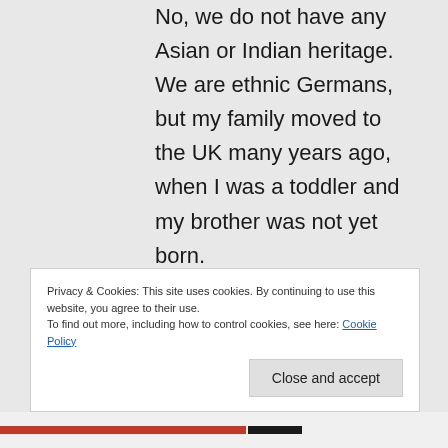No, we do not have any Asian or Indian heritage. We are ethnic Germans, but my family moved to the UK many years ago, when I was a toddler and my brother was not yet born.
Privacy & Cookies: This site uses cookies. By continuing to use this website, you agree to their use. To find out more, including how to control cookies, see here: Cookie Policy
Close and accept